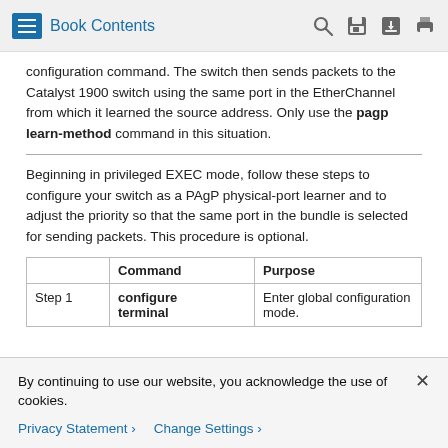Book Contents
configuration command. The switch then sends packets to the Catalyst 1900 switch using the same port in the EtherChannel from which it learned the source address. Only use the pagp learn-method command in this situation.
Beginning in privileged EXEC mode, follow these steps to configure your switch as a PAgP physical-port learner and to adjust the priority so that the same port in the bundle is selected for sending packets. This procedure is optional.
|  | Command | Purpose |
| --- | --- | --- |
| Step 1 | configure terminal | Enter global configuration mode. |
By continuing to use our website, you acknowledge the use of cookies.
Privacy Statement › Change Settings ›